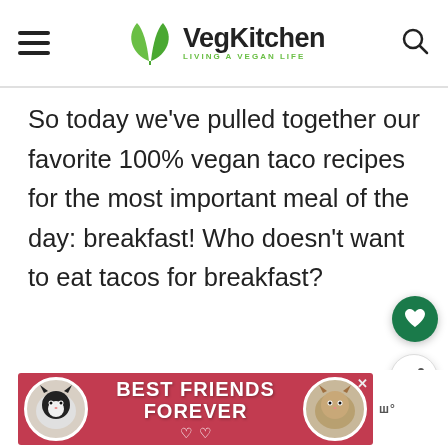VegKitchen — Living a Vegan Life
So today we've pulled together our favorite 100% vegan taco recipes for the most important meal of the day: breakfast! Who doesn't want to eat tacos for breakfast?
[Figure (other): Advertisement banner — Best Friends Forever cat food ad with two cats and pink/red background]
[Figure (other): Floating heart favorite button (green circle)]
[Figure (other): Floating share button (white circle)]